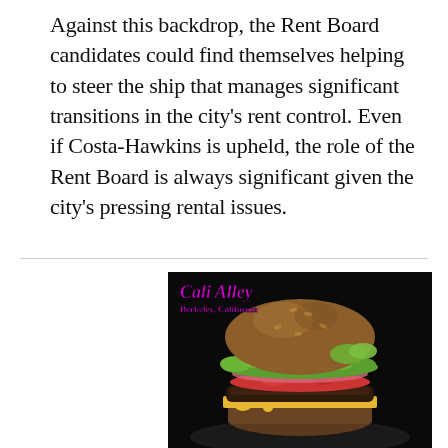Against this backdrop, the Rent Board candidates could find themselves helping to steer the ship that manages significant transitions in the city's rent control. Even if Costa-Hawkins is upheld, the role of the Rent Board is always significant given the city's pressing rental issues.
[Figure (photo): A close-up photo of a gourmet cheeseburger with lettuce, tomato, pickled onions, and melted cheese on a brioche bun, against a dark background. Overlaid text reads 'Cali Alley' in magenta italic font and 'Berkeley, California' in smaller magenta bold text.]